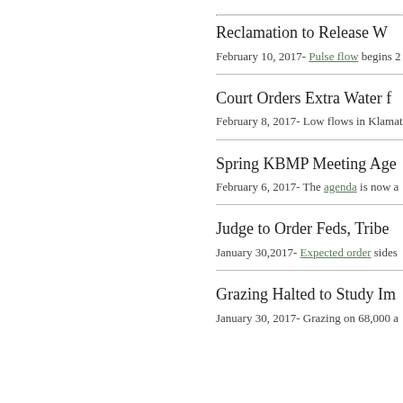Reclamation to Release W…
February 10, 2017- Pulse flow begins 2…
Court Orders Extra Water f…
February 8, 2017- Low flows in Klamath…
Spring KBMP Meeting Age…
February 6, 2017- The agenda is now a…
Judge to Order Feds, Tribe…
January 30,2017- Expected order sides…
Grazing Halted to Study Im…
January 30, 2017- Grazing on 68,000 a…